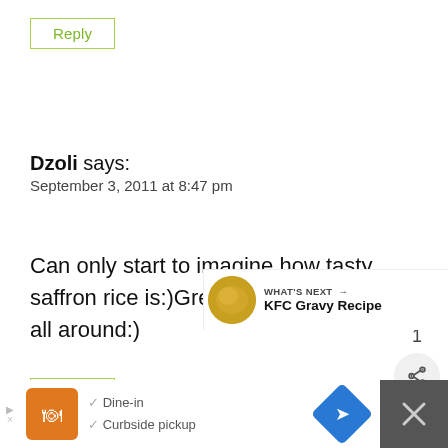Reply
Dzoli says:
September 3, 2011 at 8:47 pm
Can only start to imagine how tasty saffron rice is:)Great combination all around:)
Reply
[Figure (infographic): What's Next arrow label with KFC Gravy Recipe thumbnail]
[Figure (infographic): Advertisement bar with restaurant logo, Dine-in and Curbside pickup options, map navigation button, and close button]